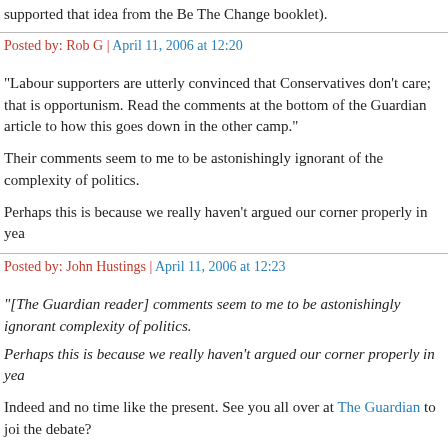supported that idea from the Be The Change booklet).
Posted by: Rob G | April 11, 2006 at 12:20
"Labour supporters are utterly convinced that Conservatives don't care; that is opportunism. Read the comments at the bottom of the Guardian article to how this goes down in the other camp."
Their comments seem to me to be astonishingly ignorant of the complexity of politics.
Perhaps this is because we really haven't argued our corner properly in yea
Posted by: John Hustings | April 11, 2006 at 12:23
"[The Guardian reader] comments seem to me to be astonishingly ignorant complexity of politics.
Perhaps this is because we really haven't argued our corner properly in yea
Indeed and no time like the present. See you all over at The Guardian to joi the debate?
Posted by: Stephen B | April 11, 2006 at 12:43